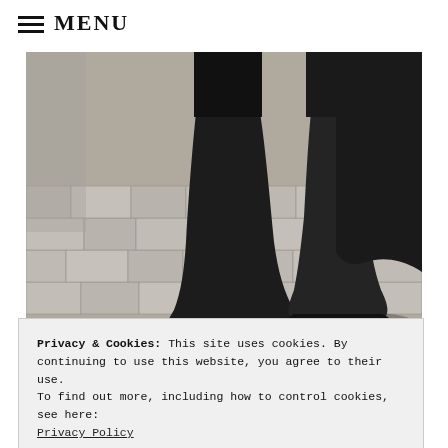≡ MENU
[Figure (photo): Close-up photo of a person's legs wearing tall black leather boots, walking on a cobblestone/brick sidewalk. The person is wearing black pants and a dark coat.]
Privacy & Cookies: This site uses cookies. By continuing to use this website, you agree to their use.
To find out more, including how to control cookies, see here:
Privacy Policy
[Figure (photo): Partial view of a second photo at the bottom of the page, showing green foliage background.]